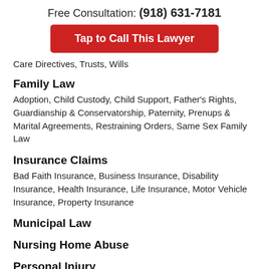Free Consultation: (918) 631-7181
[Figure (other): Red button: Tap to Call This Lawyer]
Care Directives, Trusts, Wills
Family Law
Adoption, Child Custody, Child Support, Father's Rights, Guardianship & Conservatorship, Paternity, Prenups & Marital Agreements, Restraining Orders, Same Sex Family Law
Insurance Claims
Bad Faith Insurance, Business Insurance, Disability Insurance, Health Insurance, Life Insurance, Motor Vehicle Insurance, Property Insurance
Municipal Law
Nursing Home Abuse
Personal Injury